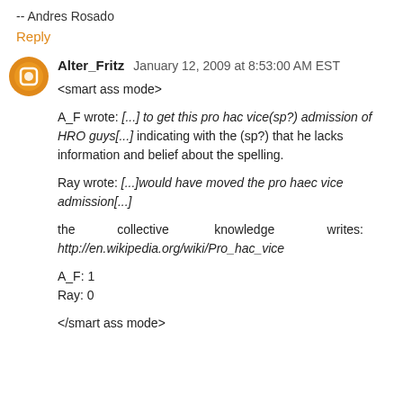-- Andres Rosado
Reply
Alter_Fritz  January 12, 2009 at 8:53:00 AM EST
<smart ass mode>
A_F wrote: [...] to get this pro hac vice(sp?) admission of HRO guys[...] indicating with the (sp?) that he lacks information and belief about the spelling.
Ray wrote: [...]would have moved the pro haec vice admission[...]
the collective knowledge writes: http://en.wikipedia.org/wiki/Pro_hac_vice
A_F: 1
Ray: 0
</smart ass mode>